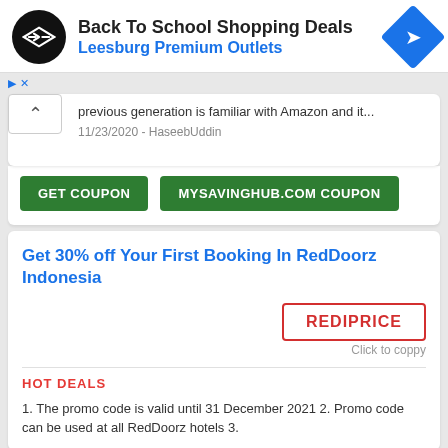[Figure (screenshot): Ad banner: Back To School Shopping Deals at Leesburg Premium Outlets with black circular logo and blue diamond navigation icon]
previous generation is familiar with Amazon and it...
11/23/2020 - HaseebUddin
GET COUPON    MYSAVINGHUB.COM COUPON
Get 30% off Your First Booking In RedDoorz Indonesia
REDIPRICE
Click to coppy
HOT DEALS
1. The promo code is valid until 31 December 2021 2. Promo code can be used at all RedDoorz hotels 3.